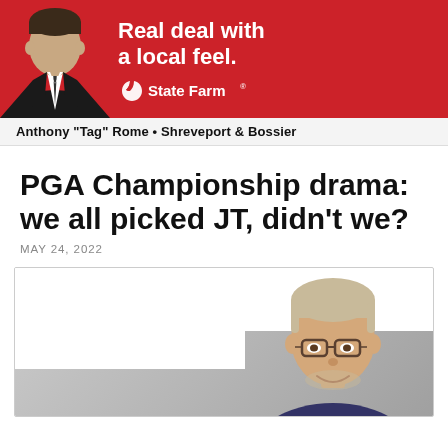[Figure (photo): State Farm advertisement banner with red background. A man in a suit appears on the left, with bold white text 'Real deal with a local feel.' and the State Farm logo on the right.]
Anthony "Tag" Rome • Shreveport & Bossier
PGA Championship drama: we all picked JT, didn't we?
MAY 24, 2022
[Figure (photo): Photo of a middle-aged man with glasses, grey and blonde hair, smiling, wearing a dark shirt. Background is white and grey.]